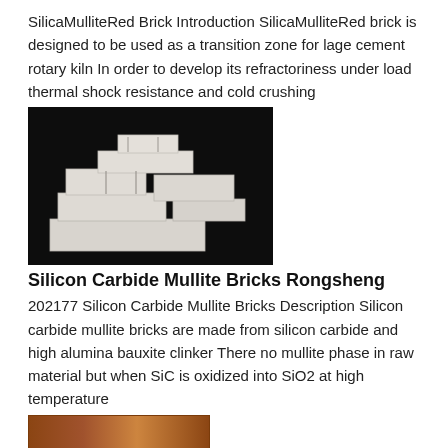SilicaMulliteRed Brick Introduction SilicaMulliteRed brick is designed to be used as a transition zone for lage cement rotary kiln In order to develop its refractoriness under load thermal shock resistance and cold crushing
[Figure (photo): Photograph of white silica mullite refractory bricks stacked on a black background]
Silicon Carbide Mullite Bricks Rongsheng
202177 Silicon Carbide Mullite Bricks Description Silicon carbide mullite bricks are made from silicon carbide and high alumina bauxite clinker There no mullite phase in raw material but when SiC is oxidized into SiO2 at high temperature
[Figure (photo): Photograph of a brown/red silicon carbide mullite brick]